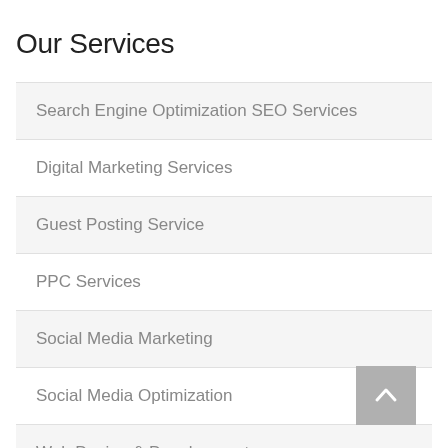Our Services
Search Engine Optimization SEO Services
Digital Marketing Services
Guest Posting Service
PPC Services
Social Media Marketing
Social Media Optimization
Web Design & Development